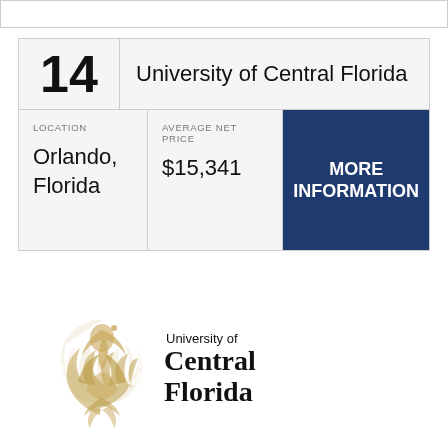| Rank | University |
| --- | --- |
| 14 | University of Central Florida |
| LOCATION | AVERAGE NET PRICE |  |
| --- | --- | --- |
| Orlando, Florida | $15,341 | MORE INFORMATION |
[Figure (logo): University of Central Florida logo with golden pegasus/phoenix symbol and text 'University of Central Florida']